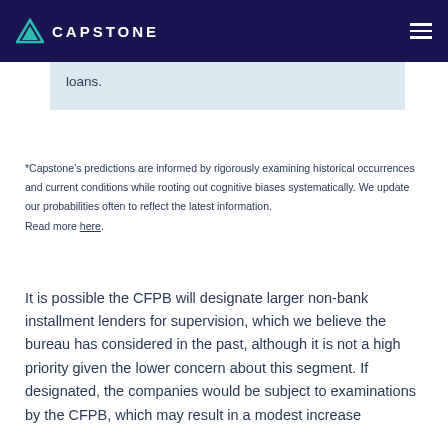CAPSTONE
loans.
*Capstone’s predictions are informed by rigorously examining historical occurrences and current conditions while rooting out cognitive biases systematically. We update our probabilities often to reflect the latest information. Read more here.
It is possible the CFPB will designate larger non-bank installment lenders for supervision, which we believe the bureau has considered in the past, although it is not a high priority given the lower concern about this segment. If designated, the companies would be subject to examinations by the CFPB, which may result in a modest increase